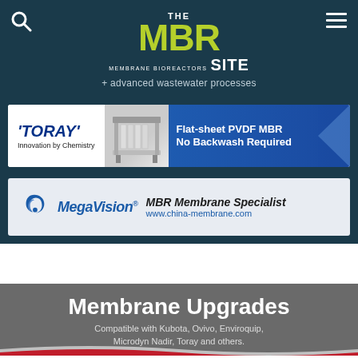THE MBR SITE MEMBRANE BIOREACTORS + advanced wastewater processes
[Figure (advertisement): Toray advertisement: Flat-sheet PVDF MBR No Backwash Required. Innovation by Chemistry.]
[Figure (advertisement): MegaVision advertisement: MBR Membrane Specialist www.china-membrane.com]
[Figure (advertisement): Membrane Upgrades banner: Compatible with Kubota, Ovivo, Enviroquip, Microdyn Nadir, Toray and others.]